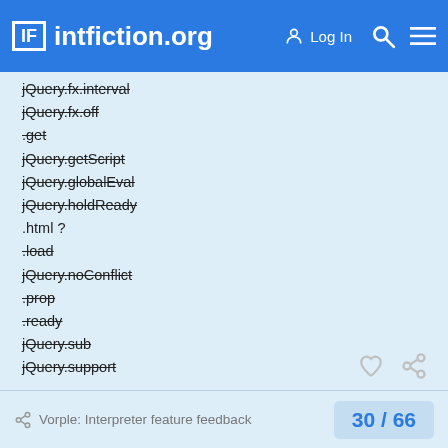intfiction.org — Log In
jQuery.fx.interval
jQuery.fx.off
.get
jQuery.getScript
jQuery.globalEval
jQuery.holdReady
.html ?
.load
jQuery.noConflict
.prop
.ready
jQuery.sub
jQuery.support
Vorple: Interpreter feature feedback   30 / 66